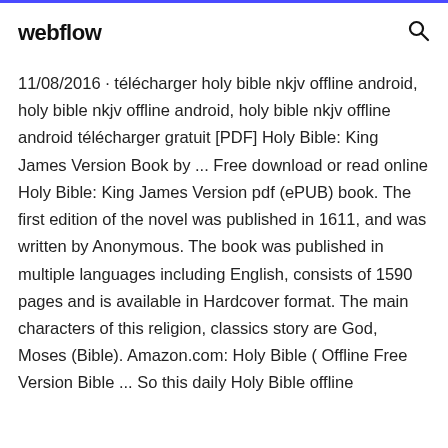webflow
11/08/2016 · télécharger holy bible nkjv offline android, holy bible nkjv offline android, holy bible nkjv offline android télécharger gratuit [PDF] Holy Bible: King James Version Book by ... Free download or read online Holy Bible: King James Version pdf (ePUB) book. The first edition of the novel was published in 1611, and was written by Anonymous. The book was published in multiple languages including English, consists of 1590 pages and is available in Hardcover format. The main characters of this religion, classics story are God, Moses (Bible). Amazon.com: Holy Bible ( Offline Free Version Bible ... So this daily Holy Bible offline